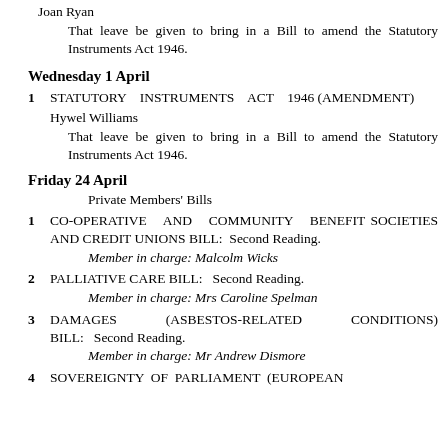Joan Ryan
That leave be given to bring in a Bill to amend the Statutory Instruments Act 1946.
Wednesday 1 April
1  STATUTORY INSTRUMENTS ACT 1946 (AMENDMENT)
Hywel Williams
That leave be given to bring in a Bill to amend the Statutory Instruments Act 1946.
Friday 24 April
Private Members' Bills
1  CO-OPERATIVE AND COMMUNITY BENEFIT SOCIETIES AND CREDIT UNIONS BILL: Second Reading.
Member in charge: Malcolm Wicks
2  PALLIATIVE CARE BILL:   Second Reading.
Member in charge: Mrs Caroline Spelman
3  DAMAGES (ASBESTOS-RELATED CONDITIONS) BILL:   Second Reading.
Member in charge: Mr Andrew Dismore
4  SOVEREIGNTY OF PARLIAMENT (EUROPEAN